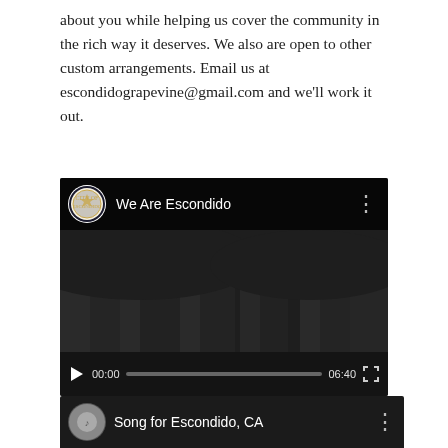about you while helping us cover the community in the rich way it deserves. We also are open to other custom arrangements. Email us at escondidograpevine@gmail.com and we'll work it out.
[Figure (screenshot): YouTube video player showing 'We Are Escondido' video with City of Escondido seal logo, dark cityscape background, red play button, and controls showing 00:00 / 06:40]
[Figure (screenshot): YouTube video player header showing 'Song for Escondido, CA' with a circular thumbnail and three-dot menu]